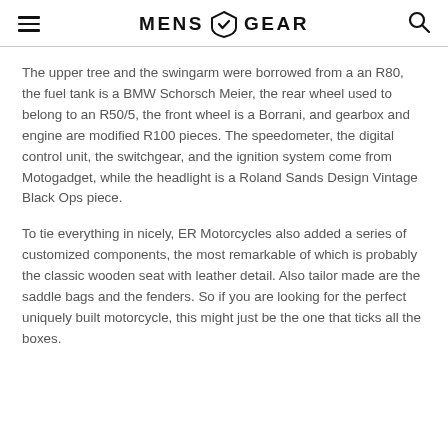MENS GEAR
The upper tree and the swingarm were borrowed from a an R80, the fuel tank is a BMW Schorsch Meier, the rear wheel used to belong to an R50/5, the front wheel is a Borrani, and gearbox and engine are modified R100 pieces. The speedometer, the digital control unit, the switchgear, and the ignition system come from Motogadget, while the headlight is a Roland Sands Design Vintage Black Ops piece.
To tie everything in nicely, ER Motorcycles also added a series of customized components, the most remarkable of which is probably the classic wooden seat with leather detail. Also tailor made are the saddle bags and the fenders. So if you are looking for the perfect uniquely built motorcycle, this might just be the one that ticks all the boxes.